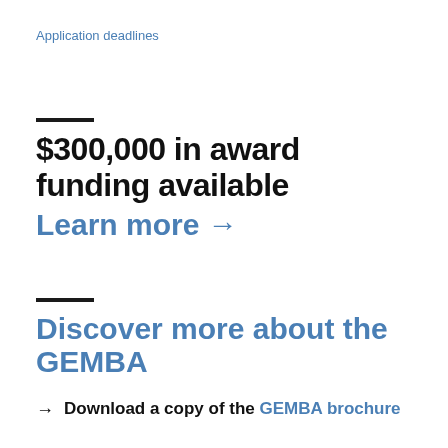Application deadlines
$300,000 in award funding available
Learn more →
Discover more about the GEMBA
→ Download a copy of the GEMBA brochure